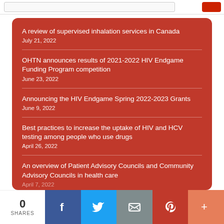A review of supervised inhalation services in Canada
July 21, 2022
OHTN announces results of 2021-2022 HIV Endgame Funding Program competition
June 23, 2022
Announcing the HIV Endgame Spring 2022-2023 Grants
June 9, 2022
Best practices to increase the uptake of HIV and HCV testing among people who use drugs
April 26, 2022
An overview of Patient Advisory Councils and Community Advisory Councils in health care
April 7, 2022
0 SHARES | Facebook | Twitter | Email | Pinterest | More